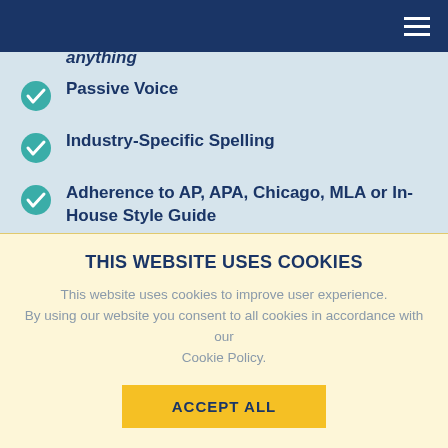Passive Voice
Industry-Specific Spelling
Adherence to AP, APA, Chicago, MLA or In-House Style Guide
EMPLOYEE GUIDE/MANUAL PROOFREADING
With this service, we identify and correct mistakes in basic English usage. It covers:
THIS WEBSITE USES COOKIES
This website uses cookies to improve user experience. By using our website you consent to all cookies in accordance with our Cookie Policy.
ACCEPT ALL